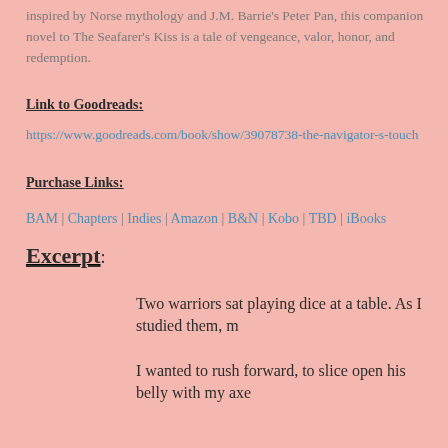inspired by Norse mythology and J.M. Barrie's Peter Pan, this companion novel to The Seafarer's Kiss is a tale of vengeance, valor, honor, and redemption.
Link to Goodreads:
https://www.goodreads.com/book/show/39078738-the-navigator-s-touch
Purchase Links:
BAM | Chapters | Indies | Amazon | B&N | Kobo | TBD | iBooks
Excerpt:
Two warriors sat playing dice at a table. As I studied them, m
I wanted to rush forward, to slice open his belly with my axe